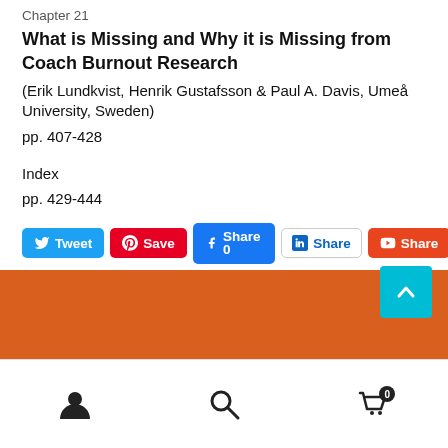Chapter 21
What is Missing and Why it is Missing from Coach Burnout Research
(Erik Lundkvist, Henrik Gustafsson & Paul A. Davis, Umeå University, Sweden)
pp. 407-428
Index
pp. 429-444
[Figure (other): Social sharing buttons: Tweet (Twitter), Save (Pinterest), Share 0 (Facebook), Share (LinkedIn), Share (YouTube)]
[Figure (other): Orange footer bar with scroll-to-top teal button showing upward chevron arrow]
[Figure (other): Bottom navigation bar with user icon, search icon, and cart icon with badge showing 0]